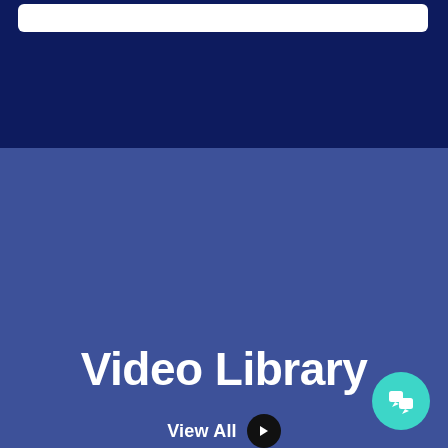[Figure (screenshot): Top dark navy blue section with a white search bar at the top]
Video Library
View All →